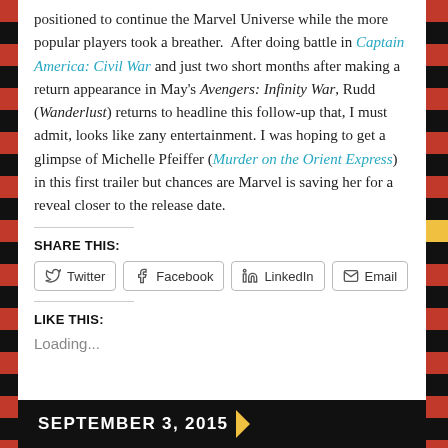positioned to continue the Marvel Universe while the more popular players took a breather. After doing battle in Captain America: Civil War and just two short months after making a return appearance in May's Avengers: Infinity War, Rudd (Wanderlust) returns to headline this follow-up that, I must admit, looks like zany entertainment. I was hoping to get a glimpse of Michelle Pfeiffer (Murder on the Orient Express) in this first trailer but chances are Marvel is saving her for a reveal closer to the release date.
SHARE THIS:
Twitter | Facebook | LinkedIn | Email
LIKE THIS:
Loading...
SEPTEMBER 3, 2015